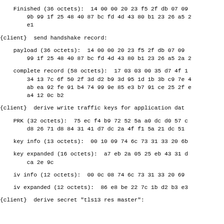Finished (36 octets):  14 00 00 20 23 f5 2f db 07 09
    9b 99 1f 25 48 40 87 bc fd 4d 43 80 b1 23 26 a5 2
    e1
{client}  send handshake record:
payload (36 octets):  14 00 00 20 23 f5 2f db 07 09
    99 1f 25 48 40 87 bc fd 4d 43 80 b1 23 26 a5 2a 2
complete record (58 octets):  17 03 03 00 35 d7 4f 1
    34 13 7c 6f 50 2f 3d d2 b9 3d 95 1d 1b 3b c9 7e 4
    ab ea 92 fe 91 b4 74 99 9e 85 e3 b7 91 ce 25 2f e
    a4 12 0c b2
{client}  derive write traffic keys for application dat
PRK (32 octets):  75 ec f4 b9 72 52 5a a0 dc d0 57 c
    d8 26 71 d8 84 31 41 d7 dc 2a 4f f1 5a 21 dc 51
key info (13 octets):  00 10 09 74 6c 73 31 33 20 6b
key expanded (16 octets):  a7 eb 2a 05 25 eb 43 31 d
    ca 2e 9c
iv info (12 octets):  00 0c 08 74 6c 73 31 33 20 69
iv expanded (12 octets):  86 e8 be 22 7c 1b d2 b3 e3
{client}  derive secret "tls13 res master":